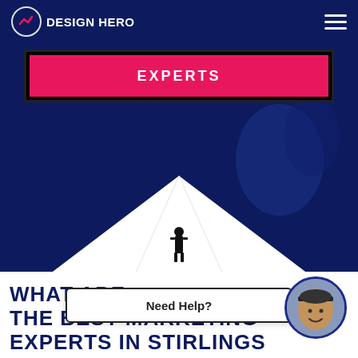DESIGN HERO
EXPERTS
[Figure (illustration): Hero illustration with dark navy blue background, large white triangular light beam shape pointing upward, with a small silhouette of a standing person at the center, and shadowy figures in the upper right.]
WHAT ARE THE BEST MARKETING EXPERTS IN STIRLINGS
Need Help?